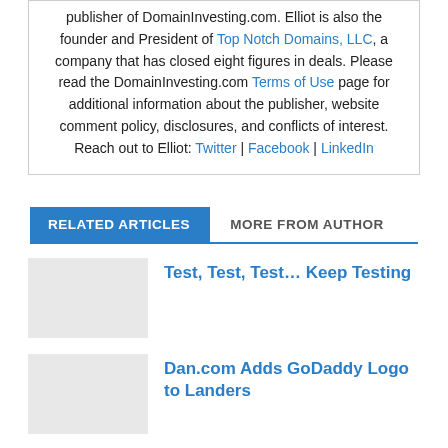publisher of DomainInvesting.com. Elliot is also the founder and President of Top Notch Domains, LLC, a company that has closed eight figures in deals. Please read the DomainInvesting.com Terms of Use page for additional information about the publisher, website comment policy, disclosures, and conflicts of interest. Reach out to Elliot: Twitter | Facebook | LinkedIn
RELATED ARTICLES   MORE FROM AUTHOR
Test, Test, Test… Keep Testing
Dan.com Adds GoDaddy Logo to Landers